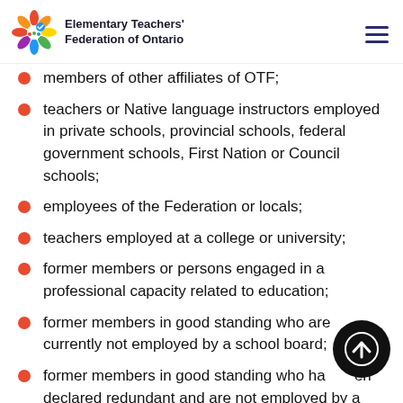Elementary Teachers' Federation of Ontario
members of other affiliates of OTF;
teachers or Native language instructors employed in private schools, provincial schools, federal government schools, First Nation or Council schools;
employees of the Federation or locals;
teachers employed at a college or university;
former members or persons engaged in a professional capacity related to education;
former members in good standing who are currently not employed by a school board;
former members in good standing who have been declared redundant and are not employed by a